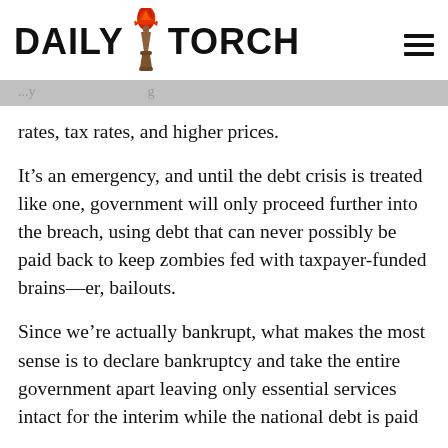DAILY TORCH
rates, tax rates, and higher prices.
It’s an emergency, and until the debt crisis is treated like one, government will only proceed further into the breach, using debt that can never possibly be paid back to keep zombies fed with taxpayer-funded brains—er, bailouts.
Since we’re actually bankrupt, what makes the most sense is to declare bankruptcy and take the entire government apart leaving only essential services intact for the interim while the national debt is paid